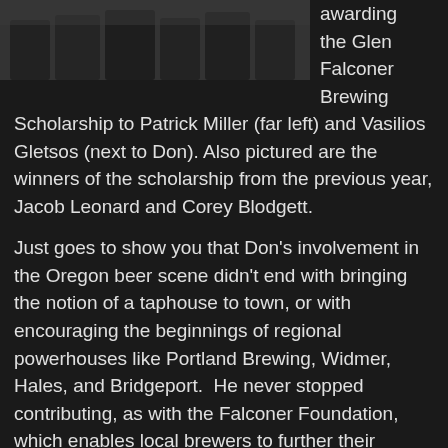[Figure (photo): Group photo of people, partially visible at top of page]
awarding the Glen Falconer Brewing Scholarship to Patrick Miller (far left) and Vasilios Gletsos (next to Don). Also pictured are the winners of the scholarship from the previous year, Jacob Leonard and Corey Blodgett.
Just goes to show you that Don's involvement in the Oregon beer scene didn't end with bringing the notion of a taphouse to town, or with encouraging the beginnings of regional powerhouses like Portland Brewing, Widmer, Hales, and Bridgeport.  He never stopped contributing, as with the Falconer Foundation, which enables local brewers to further their professional education at the Siebel Institute.  Think of the brewing ferment (pardon the pun) that is reflected in that picture:  since it was taken Jacob has left Walking Man for Widmer, Corey has left McMenamins for Maritime Pacific, Vasili has left Rock Bottom for MacTarnahan's, and Patrick has been involved in the Oregon Brew Crew collaboration with Rogue at the Green Dragon. That picture is a tiny window into the legacy that Don left — a legacy that will live